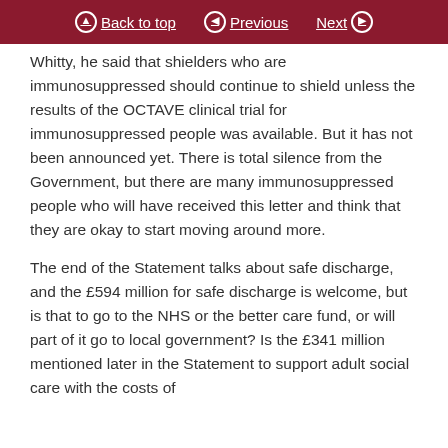Back to top | Previous | Next
Whitty, he said that shielders who are immunosuppressed should continue to shield unless the results of the OCTAVE clinical trial for immunosuppressed people was available. But it has not been announced yet. There is total silence from the Government, but there are many immunosuppressed people who will have received this letter and think that they are okay to start moving around more.
The end of the Statement talks about safe discharge, and the £594 million for safe discharge is welcome, but is that to go to the NHS or the better care fund, or will part of it go to local government? Is the £341 million mentioned later in the Statement to support adult social care with the costs of